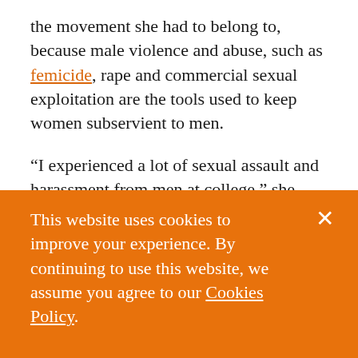the movement she had to belong to, because male violence and abuse, such as femicide, rape and commercial sexual exploitation are the tools used to keep women subservient to men.
“I experienced a lot of sexual assault and harassment from men at college,” she tells me. “But before then, as I hit puberty, men would hit on me and I soon was face-to-face with extreme
This website uses cookies to improve your experience. By continuing to use this website, we assume you agree to our Cookies Policy.